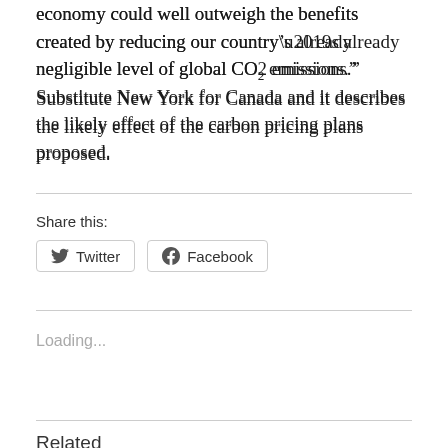economy could well outweigh the benefits created by reducing our country’s already negligible level of global CO2 emissions.” Substitute New York for Canada and it describes the likely effect of the carbon pricing plans proposed.
Share this:
[Figure (other): Twitter and Facebook share buttons]
Loading...
Related